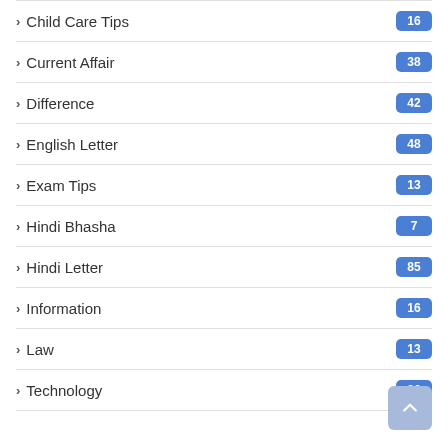Child Care Tips
Current Affair
Difference
English Letter
Exam Tips
Hindi Bhasha
Hindi Letter
Information
Law
Technology